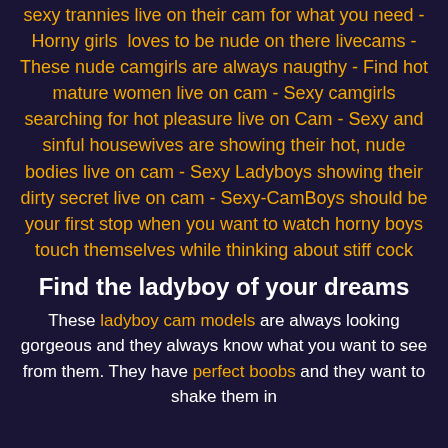sexy trannies live on their cam for what you need - Horny girls loves to be nude on there livecams - These nude camgirls are always naugthy - Find hot mature women live on cam - Sexy camgirls searching for hot pleasure live on Cam - Sexy and sinful housewives are showing their hot, nude bodies live on cam - Sexy Ladyboys showing their dirty secret live on cam - Sexy-CamBoys should be your first stop when you want to watch horny boys touch themselves while thinking about stiff cock
Find the ladyboy of your dreams
These ladyboy cam models are always looking gorgeous and they always know what you want to see from them. They have perfect boobs and they want to shake them in